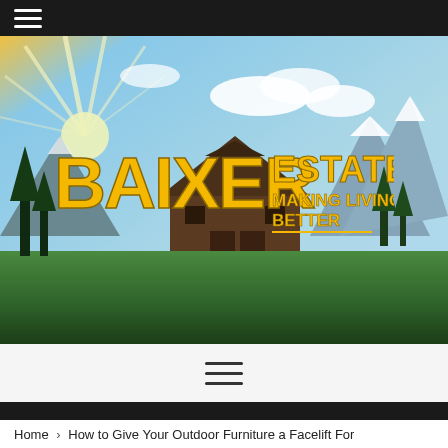[Figure (photo): Hero banner image showing Baixer Estate logo overlaid on a scenic landscape with a rustic barn, mountain peaks, blue sky with clouds, sunburst, and green meadow. The logo reads 'BAIXER ESTATE — MAKING LIVING BETTER' in bold yellow/gold text.]
≡ (hamburger menu icon)
Home > How to Give Your Outdoor Furniture a Facelift For